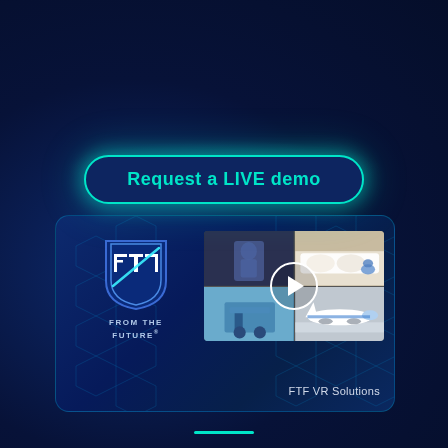Request a LIVE demo
[Figure (logo): From The Future (FTF) logo — shield shape with stylized FTF letters and a hockey stick accent, 'FROM THE FUTURE' text below]
[Figure (screenshot): Video thumbnail grid showing four scenes: VR/animation filming, hotel room with plush animals, machinery/equipment, airplane on tarmac. Play button overlay in center. Caption: FTF VR Solutions]